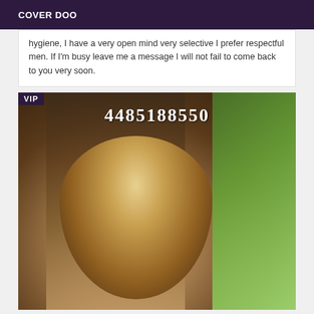COVER DOO
hygiene, I have a very open mind very selective I prefer respectful men. If I'm busy leave me a message I will not fail to come back to you very soon.
[Figure (photo): Photo of a person with blonde highlighted hair viewed from behind, outdoors with green foliage background. A phone number '4485188550' is overlaid at top, and a 'VIP' badge is in the top-left corner.]